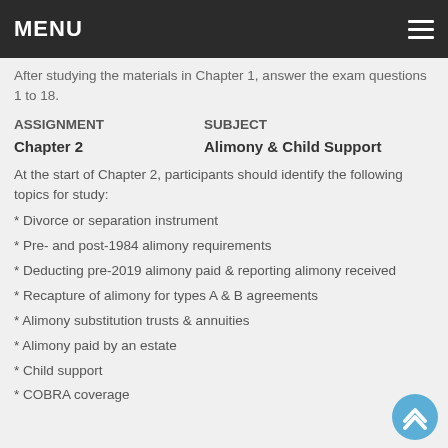MENU
After studying the materials in Chapter 1, answer the exam questions 1 to 18.
| ASSIGNMENT | SUBJECT |
| --- | --- |
| Chapter 2 | Alimony & Child Support |
At the start of Chapter 2, participants should identify the following topics for study:
* Divorce or separation instrument
* Pre- and post-1984 alimony requirements
* Deducting pre-2019 alimony paid & reporting alimony received
* Recapture of alimony for types A & B agreements
* Alimony substitution trusts & annuities
* Alimony paid by an estate
* Child support
* COBRA coverage